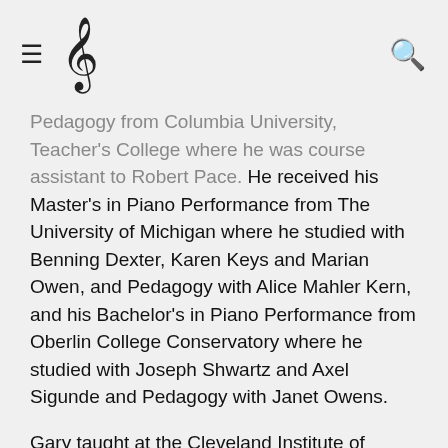≡ ♩ 🔍
Pedagogy from Columbia University, Teacher's College where he was course assistant to Robert Pace. He received his Master's in Piano Performance from The University of Michigan where he studied with Benning Dexter, Karen Keys and Marian Owen, and Pedagogy with Alice Mahler Kern, and his Bachelor's in Piano Performance from Oberlin College Conservatory where he studied with Joseph Shwartz and Axel Sigunde and Pedagogy with Janet Owens.
Gary taught at the Cleveland Institute of Music Preparatory Division for over 40 years, and is highly experienced in teaching children as young as age 5 up through adults. His teaching career began with teaching assistantships at The University of Miami and Florida State University. Later he taught at Cuyahoga Community College, and the University of Akron where